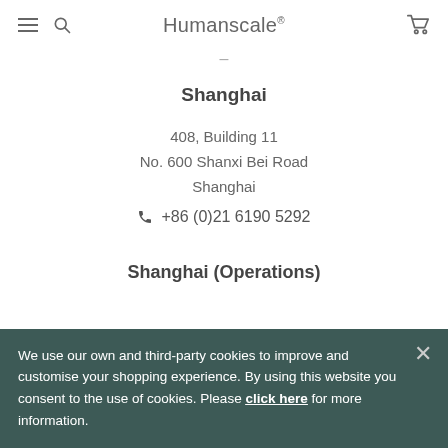Humanscale
Shanghai
408, Building 11
No. 600 Shanxi Bei Road
Shanghai
+86 (0)21 6190 5292
Shanghai (Operations)
We use our own and third-party cookies to improve and customise your shopping experience. By using this website you consent to the use of cookies. Please click here for more information.